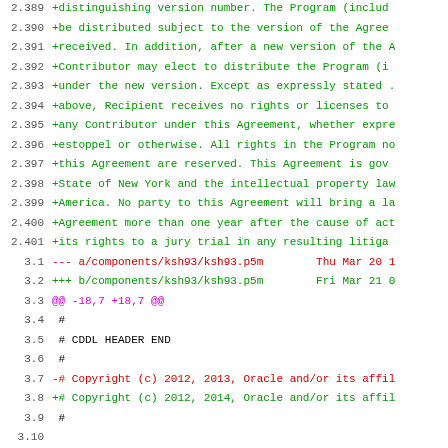Diff output showing changes to ksh93 components, including copyright year updates and package metadata additions.